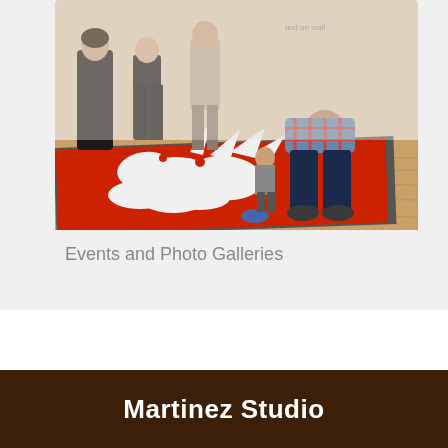[Figure (photo): Gallery visitors looking at a large red and white artwork on the floor of a museum. A child and adults are leaning over to examine a large red floral/abstract print displayed on the floor.]
Events and Photo Galleries
Martinez Studio